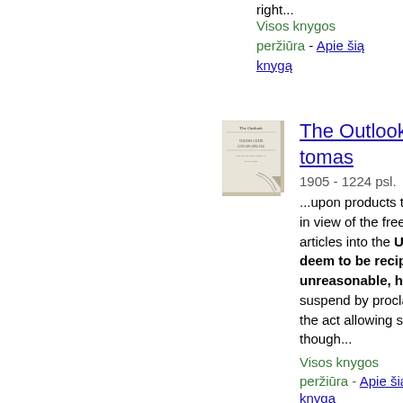right...
Visos knygos peržiūra - Apie šią knygą
[Figure (illustration): Thumbnail image of book cover for The Outlook, 79 tomas]
The Outlook, 79 tomas
1905 - 1224 psl.
...upon products to the United States which, in view of the free introduction of those articles into the United States, he may deem to be reciprocally unequal and unreasonable, he shall have the power to suspend by proclamation the provisions of the act allowing such free introduction. This, though...
Visos knygos peržiūra - Apie šią knygą